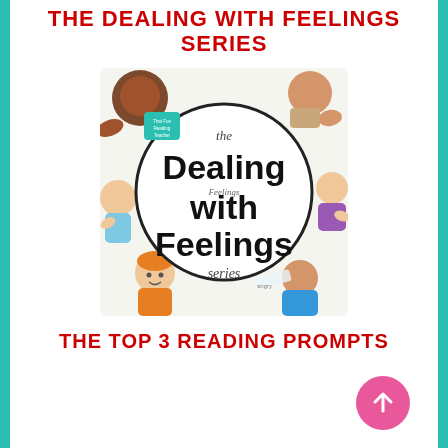THE DEALING WITH FEELINGS SERIES
[Figure (illustration): Book cover illustration for 'The Dealing with Feelings Series' showing cartoon children with various emotions around a central circle containing the text 'Dealing with Feelings series']
THE TOP 3 READING PROMPTS
[Figure (other): Pink circular up-arrow button in bottom right corner]